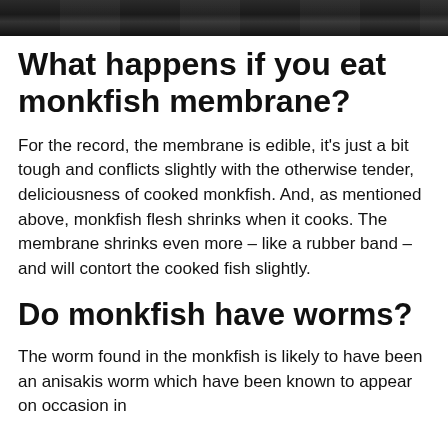[Figure (photo): Partial photo of a dark background scene, cropped at top of page]
What happens if you eat monkfish membrane?
For the record, the membrane is edible, it's just a bit tough and conflicts slightly with the otherwise tender, deliciousness of cooked monkfish. And, as mentioned above, monkfish flesh shrinks when it cooks. The membrane shrinks even more – like a rubber band – and will contort the cooked fish slightly.
Do monkfish have worms?
The worm found in the monkfish is likely to have been an anisakis worm which have been known to appear on occasion in